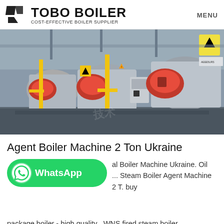TOBO BOILER — COST-EFFECTIVE BOILER SUPPLIER | MENU
[Figure (photo): Industrial boiler room with multiple large gas-fired boilers with red burners and yellow gas pipes, control panels visible]
Agent Boiler Machine 2 Ton Ukraine
al Boiler Machine Ukraine. Oil firing ... Steam Boiler Agent Machine 2 T. buy package boiler - high quality . WNS fired steam boiler